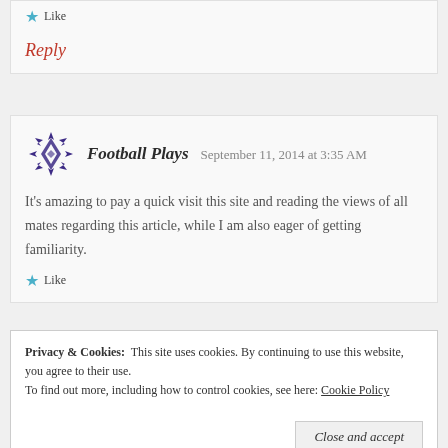Like
Reply
Football Plays  September 11, 2014 at 3:35 AM
It's amazing to pay a quick visit this site and reading the views of all mates regarding this article, while I am also eager of getting familiarity.
Like
Privacy & Cookies:  This site uses cookies. By continuing to use this website, you agree to their use. To find out more, including how to control cookies, see here: Cookie Policy
Close and accept